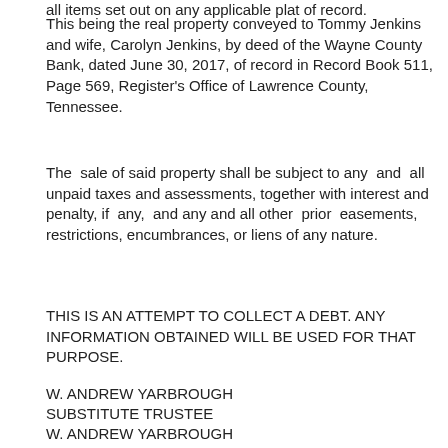This being the real property conveyed to Tommy Jenkins and wife, Carolyn Jenkins, by deed of the Wayne County Bank, dated June 30, 2017, of record in Record Book 511, Page 569, Register's Office of Lawrence County, Tennessee.
The sale of said property shall be subject to any and all unpaid taxes and assessments, together with interest and penalty, if any, and any and all other prior easements, restrictions, encumbrances, or liens of any nature.
THIS IS AN ATTEMPT TO COLLECT A DEBT. ANY INFORMATION OBTAINED WILL BE USED FOR THAT PURPOSE.
W. ANDREW YARBROUGH
SUBSTITUTE TRUSTEE
W. ANDREW YARBROUGH
ATTORNEY
OTHER INTERESTED PARTIES
WAYNE COUNTY BANK
P.O. Box 247
Waynesboro, TN 38485
B/Oc16,23,30
Public Notice